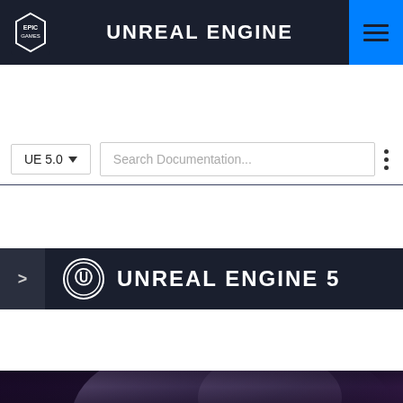UNREAL ENGINE
UE 5.0
Search Documentation...
UNREAL ENGINE 5
Material Editing
Material Editing